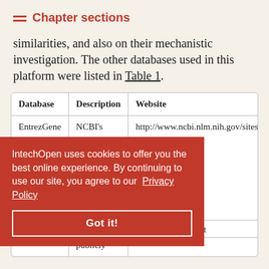Chapter sections
similarities, and also on their mechanistic investigation. The other databases used in this platform were listed in Table 1.
| Database | Description | Website |
| --- | --- | --- |
| EntrezGene | NCBI's repository for gene-specific information | http://www.ncbi.nlm.nih.gov/sites/ent db=gene |
|  |  | nlm.nih.gov/sites/ent |
|  | publicly |  |
IntechOpen uses cookies to offer you the best online experience. By continuing to use our site, you agree to our Privacy Policy
Got it!